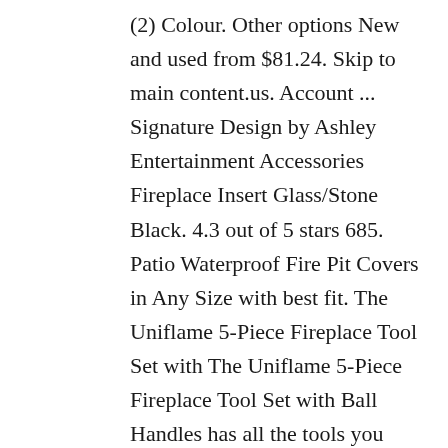(2) Colour. Other options New and used from $81.24. Skip to main content.us. Account ... Signature Design by Ashley Entertainment Accessories Fireplace Insert Glass/Stone Black. 4.3 out of 5 stars 685. Patio Waterproof Fire Pit Covers in Any Size with best fit. The Uniflame 5-Piece Fireplace Tool Set with The Uniflame 5-Piece Fireplace Tool Set with Ball Handles has all the tools you need to tend a fire. Select Your Cookie Preferences . Fireplace Accessories. NorthlineExpress.com is your complete one-stop-shop fireplace accessories